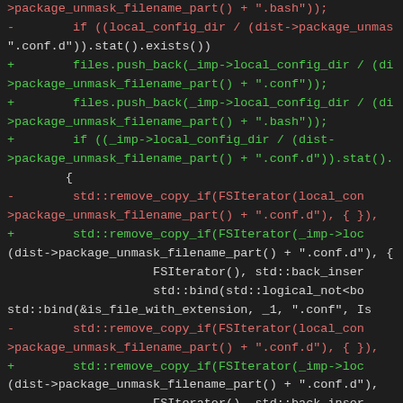[Figure (screenshot): Code diff screenshot showing C++ source code with red (removed) and green (added) lines on a dark background. The code involves file operations with package_unmask_filename_part(), FSIterator, std::remove_copy_if, std::bind, and related filesystem functions.]